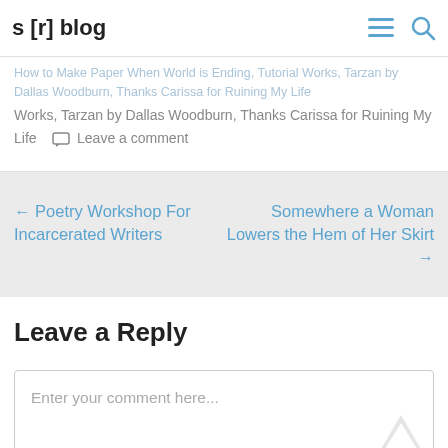s [r] blog
How to Make Paper When World is Ending, Tutorial Works, Tarzan by Dallas Woodburn, Thanks Carissa for Ruining My Life
Leave a comment
← Poetry Workshop For Incarcerated Writers
Somewhere a Woman Lowers the Hem of Her Skirt →
Leave a Reply
Enter your comment here...